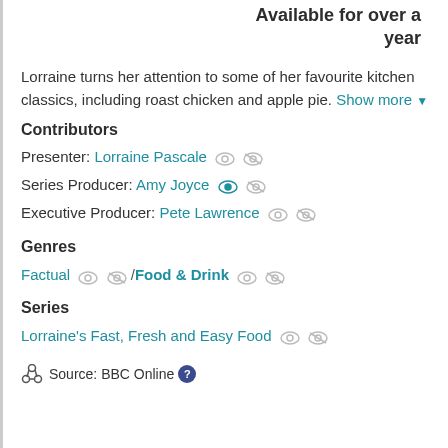Available for over a year
Lorraine turns her attention to some of her favourite kitchen classics, including roast chicken and apple pie. Show more
Contributors
Presenter: Lorraine Pascale
Series Producer: Amy Joyce
Executive Producer: Pete Lawrence
Genres
Factual / Food & Drink
Series
Lorraine's Fast, Fresh and Easy Food
Source: BBC Online